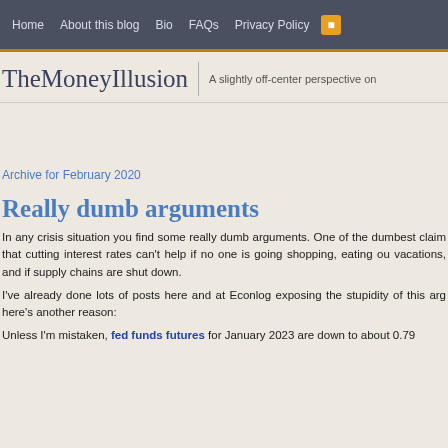Home | About this blog | Bio | FAQs | Privacy Policy | RSS
TheMoneyIllusion | A slightly off-center perspective on
Archive for February 2020
Really dumb arguments
In any crisis situation you find some really dumb arguments. One of the dumbest claim that cutting interest rates can't help if no one is going shopping, eating ou vacations, and if supply chains are shut down.
I've already done lots of posts here and at Econlog exposing the stupidity of this arg here's another reason:
Unless I'm mistaken, fed funds futures for January 2023 are down to about 0.79